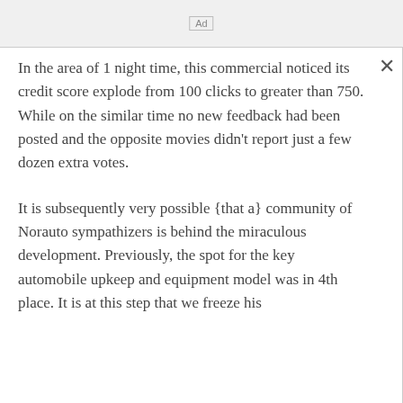Ad
In the area of 1 night time, this commercial noticed its credit score explode from 100 clicks to greater than 750. While on the similar time no new feedback had been posted and the opposite movies didn't report just a few dozen extra votes.
It is subsequently very possible {that a} community of Norauto sympathizers is behind the miraculous development. Previously, the spot for the key automobile upkeep and equipment model was in 4th place. It is at this step that we freeze his